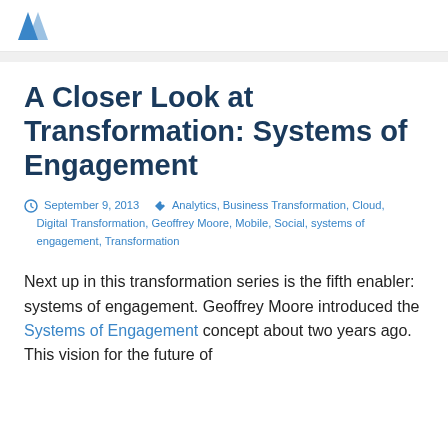A Closer Look at Transformation: Systems of Engagement
September 9, 2013   Analytics, Business Transformation, Cloud, Digital Transformation, Geoffrey Moore, Mobile, Social, systems of engagement, Transformation
Next up in this transformation series is the fifth enabler: systems of engagement. Geoffrey Moore introduced the Systems of Engagement concept about two years ago. This vision for the future of